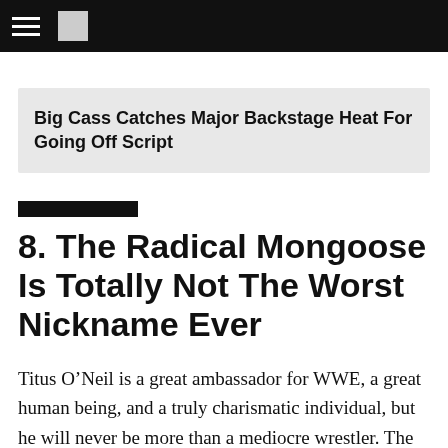Big Cass Catches Major Backstage Heat For Going Off Script
8. The Radical Mongoose Is Totally Not The Worst Nickname Ever
Titus O’Neil is a great ambassador for WWE, a great human being, and a truly charismatic individual, but he will never be more than a mediocre wrestler. The Social Outcasts are a big joke, but they’re all solid